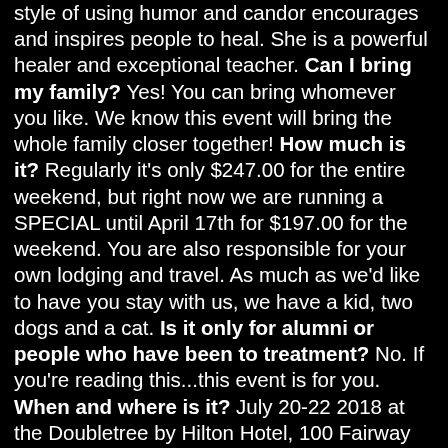style of using humor and candor encourages and inspires people to heal. She is a powerful healer and exceptional teacher. Can I bring my family? Yes! You can bring whomever you like. We know this event will bring the whole family closer together! How much is it? Regularly it's only $247.00 for the entire weekend, but right now we are running a SPECIAL until April 17th for $197.00 for the weekend. You are also responsible for your own lodging and travel. As much as we'd like to have you stay with us, we have a kid, two dogs and a cat. Is it only for alumni or people who have been to treatment? No. If you're reading this...this event is for you. When and where is it? July 20-22 2018 at the Doubletree by Hilton Hotel, 100 Fairway Drive Deerfield Beach, FL 33441 Google Map